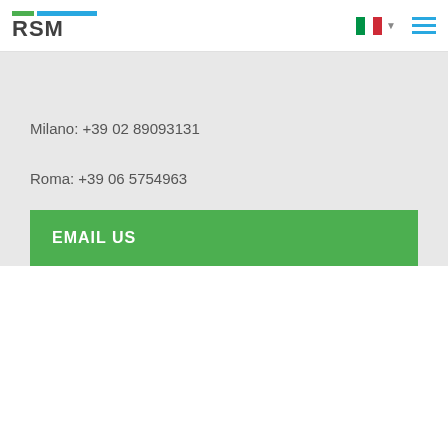RSM
Milano: +39 02 89093131
Roma:  +39 06 5754963
or email your questions, comments, or proposal requests.
EMAIL US
THE POWER OF BEING UNDERSTOOD
AUDIT | TAX | CONSULTING
RSM links
RSM log-in